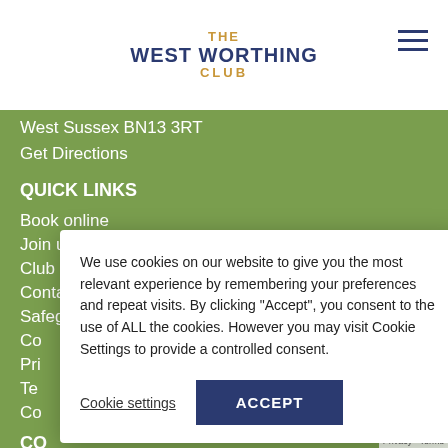THE WEST WORTHING CLUB
West Sussex BN13 3RT
Get Directions
QUICK LINKS
Book online
Join us
Club Calendar
Contact us
Safeguarding
Co...
Pri...
Te...
Co...
CO...
🔲Te...
🔲Fa...
Em...
SOCIAL
We use cookies on our website to give you the most relevant experience by remembering your preferences and repeat visits. By clicking "Accept", you consent to the use of ALL the cookies. However you may visit Cookie Settings to provide a controlled consent.
Cookie settings
ACCEPT